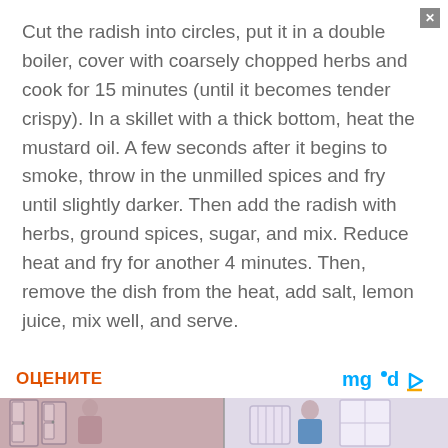Cut the radish into circles, put it in a double boiler, cover with coarsely chopped herbs and cook for 15 minutes (until it becomes tender crispy). In a skillet with a thick bottom, heat the mustard oil. A few seconds after it begins to smoke, throw in the unmilled spices and fry until slightly darker. Then add the radish with herbs, ground spices, sugar, and mix. Reduce heat and fry for another 4 minutes. Then, remove the dish from the heat, add salt, lemon juice, mix well, and serve.
ОЦЕНИТЕ
[Figure (photo): Advertisement image showing two people in a room with pink/pastel decor, split into two panels]